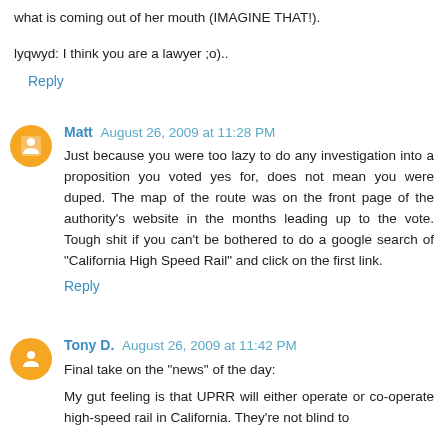what is coming out of her mouth (IMAGINE THAT!).
lyqwyd: I think you are a lawyer ;o)..
Reply
Matt  August 26, 2009 at 11:28 PM
Just because you were too lazy to do any investigation into a proposition you voted yes for, does not mean you were duped. The map of the route was on the front page of the authority's website in the months leading up to the vote. Tough shit if you can't be bothered to do a google search of "California High Speed Rail" and click on the first link.
Reply
Tony D.  August 26, 2009 at 11:42 PM
Final take on the "news" of the day:
My gut feeling is that UPRR will either operate or co-operate high-speed rail in California. They're not blind to